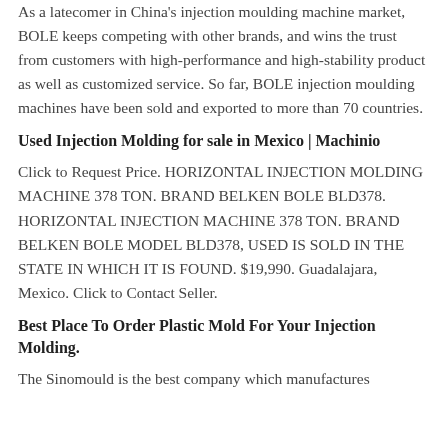As a latecomer in China's injection moulding machine market, BOLE keeps competing with other brands, and wins the trust from customers with high-performance and high-stability product as well as customized service. So far, BOLE injection moulding machines have been sold and exported to more than 70 countries.
Used Injection Molding for sale in Mexico | Machinio
Click to Request Price. HORIZONTAL INJECTION MOLDING MACHINE 378 TON. BRAND BELKEN BOLE BLD378. HORIZONTAL INJECTION MACHINE 378 TON. BRAND BELKEN BOLE MODEL BLD378, USED IS SOLD IN THE STATE IN WHICH IT IS FOUND. $19,990. Guadalajara, Mexico. Click to Contact Seller.
Best Place To Order Plastic Mold For Your Injection Molding.
The Sinomould is the best company which manufactures